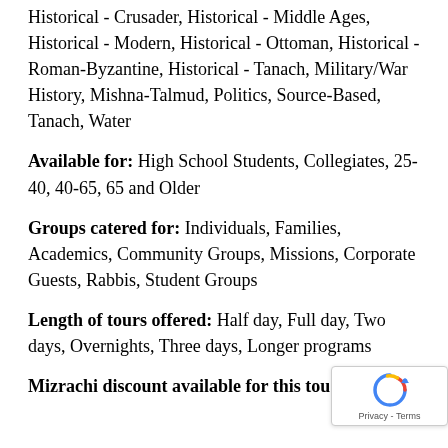Historical - Crusader, Historical - Middle Ages, Historical - Modern, Historical - Ottoman, Historical - Roman-Byzantine, Historical - Tanach, Military/War History, Mishna-Talmud, Politics, Source-Based, Tanach, Water
Available for: High School Students, Collegiates, 25-40, 40-65, 65 and Older
Groups catered for: Individuals, Families, Academics, Community Groups, Missions, Corporate Guests, Rabbis, Student Groups
Length of tours offered: Half day, Full day, Two days, Overnights, Three days, Longer programs
Mizrachi discount available for this tou...